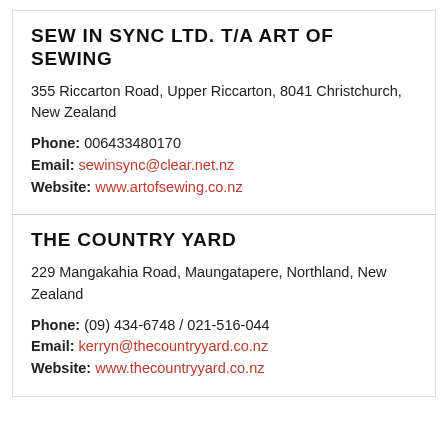SEW IN SYNC LTD. T/A ART OF SEWING
355 Riccarton Road, Upper Riccarton, 8041 Christchurch, New Zealand
Phone: 006433480170
Email: sewinsync@clear.net.nz
Website: www.artofsewing.co.nz
THE COUNTRY YARD
229 Mangakahia Road, Maungatapere, Northland, New Zealand
Phone: (09) 434-6748 / 021-516-044
Email: kerryn@thecountryyard.co.nz
Website: www.thecountryyard.co.nz